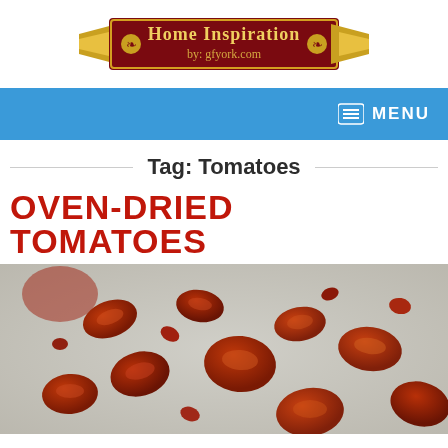[Figure (logo): Home Inspiration by gfyork.com banner logo with gold ribbon and dark red background]
[Figure (screenshot): Blue navigation bar with MENU text and hamburger/list icon on the right]
Tag: Tomatoes
OVEN-DRIED TOMATOES
[Figure (photo): Close-up photo of oven-dried tomatoes scattered on a baking sheet]